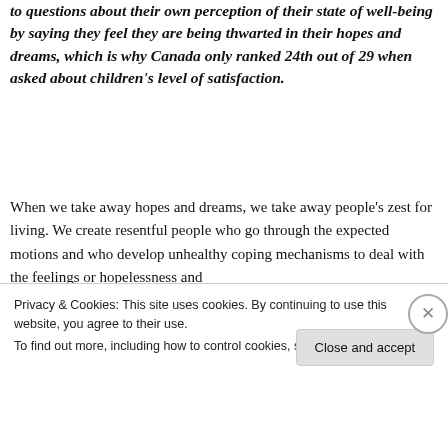to questions about their own perception of their state of well-being by saying they feel they are being thwarted in their hopes and dreams, which is why Canada only ranked 24th out of 29 when asked about children's level of satisfaction.
When we take away hopes and dreams, we take away people's zest for living. We create resentful people who go through the expected motions and who develop unhealthy coping mechanisms to deal with the feelings or hopelessness and
Privacy & Cookies: This site uses cookies. By continuing to use this website, you agree to their use.
To find out more, including how to control cookies, see here: Cookie Policy